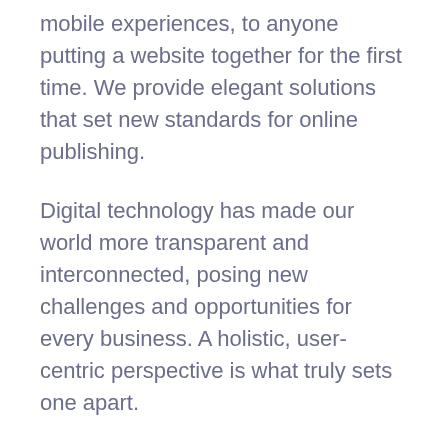mobile experiences, to anyone putting a website together for the first time. We provide elegant solutions that set new standards for online publishing.
Digital technology has made our world more transparent and interconnected, posing new challenges and opportunities for every business. A holistic, user-centric perspective is what truly sets one apart.
Project Name
Social Engagement
Client
WebSolutions Inc
Our Role
SEO Optimization